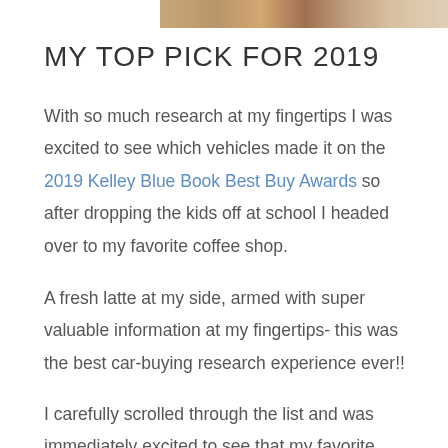[Figure (photo): Partial photo strip at the top of the page showing warm-toned images (food/lifestyle)]
MY TOP PICK FOR 2019
With so much research at my fingertips I was excited to see which vehicles made it on the 2019 Kelley Blue Book Best Buy Awards so after dropping the kids off at school I headed over to my favorite coffee shop.
A fresh latte at my side, armed with super valuable information at my fingertips- this was the best car-buying research experience ever!!
I carefully scrolled through the list and was immediately excited to see that my favorite